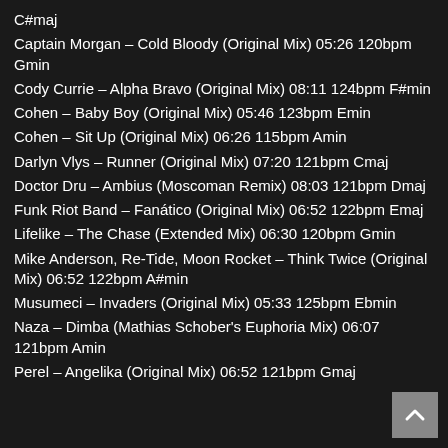C#maj
Captain Morgan – Cold Bloody (Original Mix) 05:26 120bpm Gmin
Cody Currie – Alpha Bravo (Original Mix) 08:11 124bpm F#min
Cohen – Baby Boy (Original Mix) 05:46 123bpm Emin
Cohen – Sit Up (Original Mix) 06:26 115bpm Amin
Darlyn Vlys – Runner (Original Mix) 07:20 121bpm Cmaj
Doctor Dru – Ambius (Moscoman Remix) 08:03 121bpm Dmaj
Funk Riot Band – Fanático (Original Mix) 06:52 122bpm Emaj
Lifelike – The Chase (Extended Mix) 06:30 120bpm Gmin
Mike Anderson, Re-Tide, Moon Rocket – Think Twice (Original Mix) 06:52 122bpm A#min
Musumeci – Invaders (Original Mix) 05:33 125bpm Ebmin
Naza – Dimba (Mathias Schober's Euphoria Mix) 06:07 121bpm Amin
Perel – Angelika (Original Mix) 06:52 121bpm Gmaj